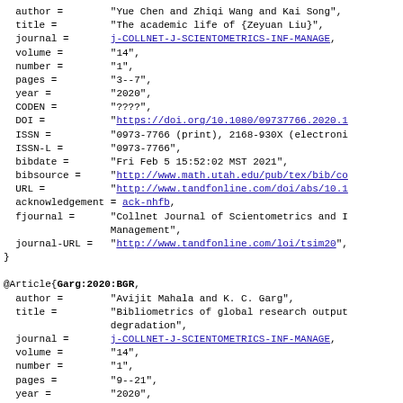BibTeX bibliography entries showing fields: author, title, journal, volume, number, pages, year, CODEN, DOI, ISSN, ISSN-L, bibdate, bibsource, URL, acknowledgement, fjournal, journal-URL for two articles in COLLNET Journal of Scientometrics and Information Management, 2020.